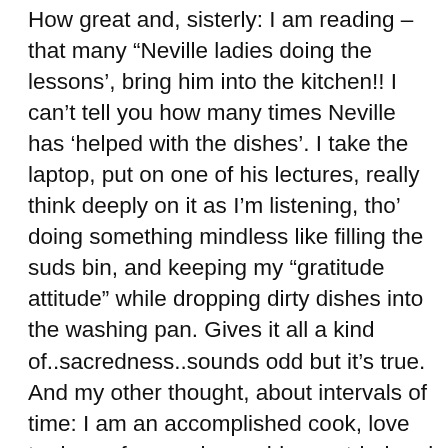How great and, sisterly: I am reading – that many “Neville ladies doing the lessons’, bring him into the kitchen!! I can’t tell you how many times Neville has ‘helped with the dishes’. I take the laptop, put on one of his lectures, really think deeply on it as I’m listening, tho’ doing something mindless like filling the suds bin, and keeping my “gratitude attitude” while dropping dirty dishes into the washing pan. Gives it all a kind of..sacredness..sounds odd but it’s true. And my other thought, about intervals of time: I am an accomplished cook, love to do my fave recipes, old ones tried and true, and new ones as well. Often in